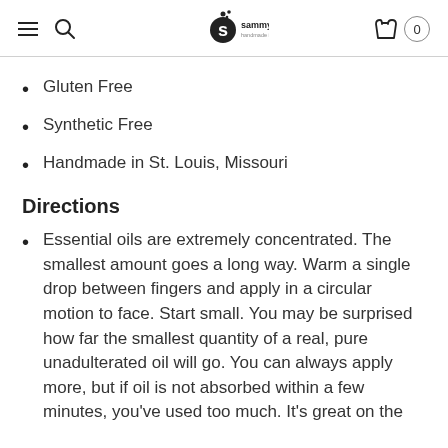sammysoap handmade in st. louis — navigation header with hamburger menu, search, logo, cart (0)
Gluten Free
Synthetic Free
Handmade in St. Louis, Missouri
Directions
Essential oils are extremely concentrated. The smallest amount goes a long way. Warm a single drop between fingers and apply in a circular motion to face. Start small. You may be surprised how far the smallest quantity of a real, pure unadulterated oil will go. You can always apply more, but if oil is not absorbed within a few minutes, you've used too much. It's great on the